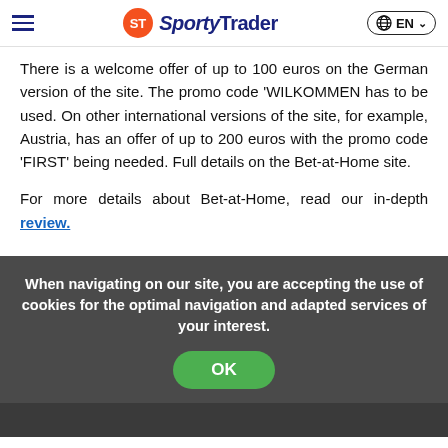SportyTrader EN
There is a welcome offer of up to 100 euros on the German version of the site. The promo code 'WILKOMMEN has to be used. On other international versions of the site, for example, Austria, has an offer of up to 200 euros with the promo code 'FIRST' being needed. Full details on the Bet-at-Home site.
For more details about Bet-at-Home, read our in-depth review.
When navigating on our site, you are accepting the use of cookies for the optimal navigation and adapted services of your interest.